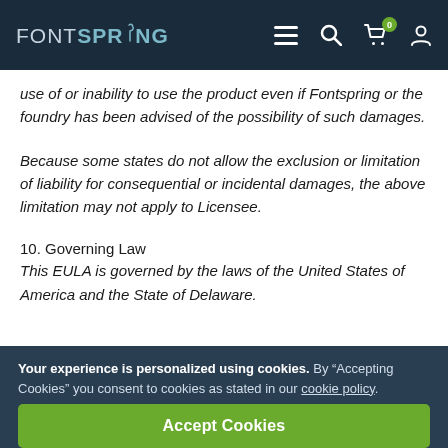FONTSPRING
use of or inability to use the product even if Fontspring or the foundry has been advised of the possibility of such damages.
Because some states do not allow the exclusion or limitation of liability for consequential or incidental damages, the above limitation may not apply to Licensee.
10. Governing Law
This EULA is governed by the laws of the United States of America and the State of Delaware.
Your experience is personalized using cookies. By “Accepting Cookies” you consent to cookies as stated in our cookie policy.
Accept Cookies